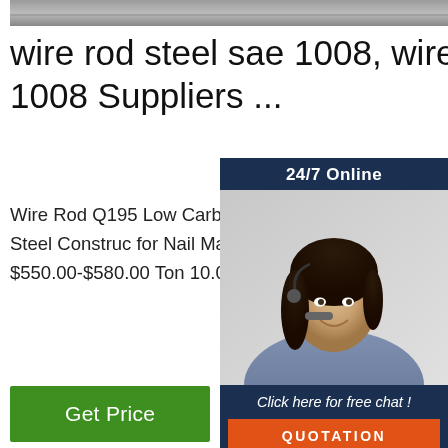[Figure (photo): Top cropped photo of wire rod steel coils or metal material]
wire rod steel sae 1008, wire rod steel sae 1008 Suppliers ...
Wire Rod Q195 Low Carbon Sae 1008 S... Drawn Wire Free Cutting Steel Construc... for Nail Making AISI ASTM DIN ±1% BS $550.00-$580.00 Ton 10.0 Tons (Min. Or...
[Figure (photo): Customer service representative with headset - 24/7 Online chat widget with QUOTATION button]
[Figure (photo): Button: Get Price (green)]
[Figure (photo): Bottom photo of black wire rod steel coils stacked in warehouse]